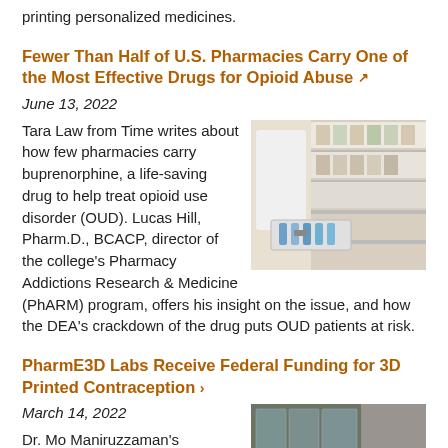printing personalized medicines.
Fewer Than Half of U.S. Pharmacies Carry One of the Most Effective Drugs for Opioid Abuse
June 13, 2022
[Figure (photo): Person in white lab coat handling medication vials in pharmacy storage trays]
Tara Law from Time writes about how few pharmacies carry buprenorphine, a life-saving drug to help treat opioid use disorder (OUD). Lucas Hill, Pharm.D., BCACP, director of the college's Pharmacy Addictions Research & Medicine (PhARM) program, offers his insight on the issue, and how the DEA's crackdown of the drug puts OUD patients at risk.
PharmE3D Labs Receive Federal Funding for 3D Printed Contraception
March 14, 2022
[Figure (photo): Group of people wearing masks in a lab setting]
Dr. Mo Maniruzzaman's